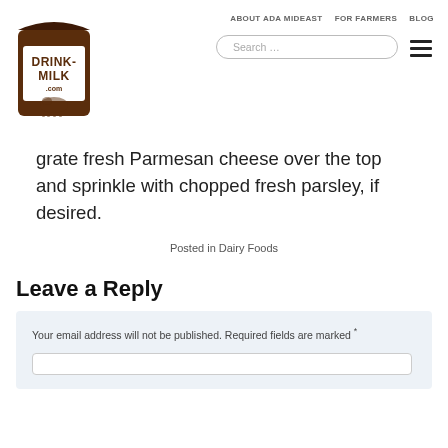ABOUT ADA MIDEAST  FOR FARMERS  BLOG
[Figure (logo): Drink-Milk.com logo: brown milk carton with cow silhouette]
grate fresh Parmesan cheese over the top and sprinkle with chopped fresh parsley, if desired.
Posted in Dairy Foods
Leave a Reply
Your email address will not be published. Required fields are marked *